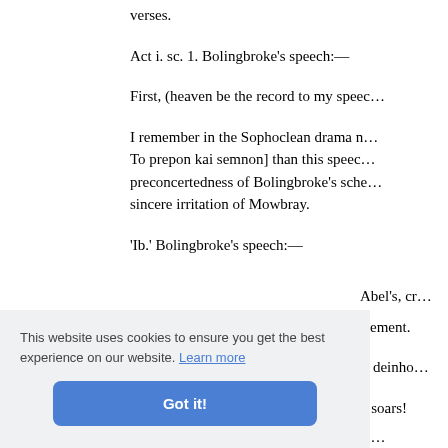verses.
Act i. sc. 1. Bolingbroke's speech:—
First, (heaven be the record to my speec…
I remember in the Sophoclean drama n… To prepon kai semnon] than this speec… preconcertedness of Bolingbroke's sche… sincere irritation of Mowbray.
'Ib.' Bolingbroke's speech:—
Abel's, cr… isement. ): deinho… n soars!
and the affected depreciation afterwards…
[Figure (screenshot): Cookie consent banner with text 'This website uses cookies to ensure you get the best experience on our website. Learn more' and a blue 'Got it!' button.]